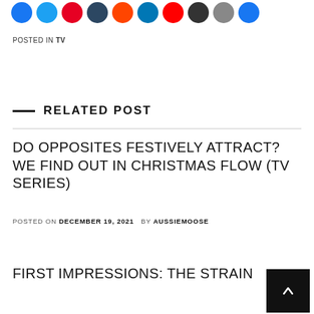[Figure (infographic): Row of social media sharing icon buttons (Facebook, Twitter, Pinterest, Tumblr, Reddit, LinkedIn, YouTube, T, messaging, and more)]
POSTED IN TV
RELATED POST
DO OPPOSITES FESTIVELY ATTRACT? WE FIND OUT IN CHRISTMAS FLOW (TV SERIES)
POSTED ON DECEMBER 19, 2021   BY AUSSIEMOOSE
FIRST IMPRESSIONS: THE STRAIN